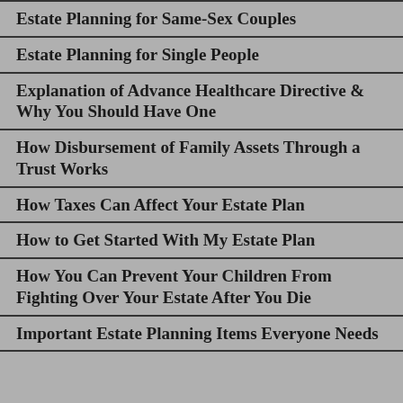Estate Planning for Same-Sex Couples
Estate Planning for Single People
Explanation of Advance Healthcare Directive & Why You Should Have One
How Disbursement of Family Assets Through a Trust Works
How Taxes Can Affect Your Estate Plan
How to Get Started With My Estate Plan
How You Can Prevent Your Children From Fighting Over Your Estate After You Die
Important Estate Planning Items Everyone Needs